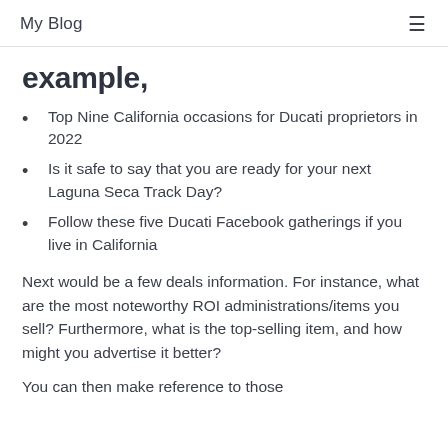My Blog
example,
Top Nine California occasions for Ducati proprietors in 2022
Is it safe to say that you are ready for your next Laguna Seca Track Day?
Follow these five Ducati Facebook gatherings if you live in California
Next would be a few deals information. For instance, what are the most noteworthy ROI administrations/items you sell? Furthermore, what is the top-selling item, and how might you advertise it better?
You can then make reference to those